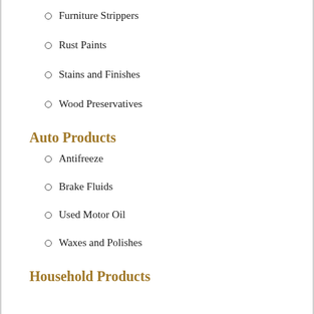Furniture Strippers
Rust Paints
Stains and Finishes
Wood Preservatives
Auto Products
Antifreeze
Brake Fluids
Used Motor Oil
Waxes and Polishes
Household Products
Abrasive Cleaners or Powder
Ammonia-Based Chemicals
Bleach Cleaners
Disinfectants
Drain Cleaners